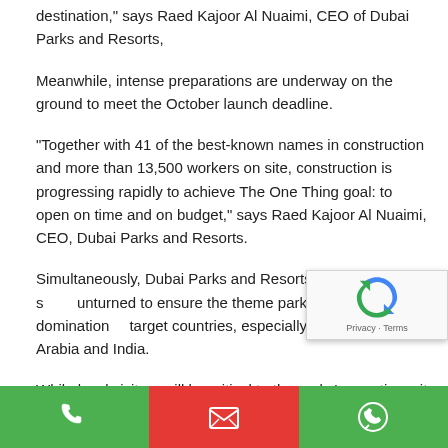destination," says Raed Kajoor Al Nuaimi, CEO of Dubai Parks and Resorts,
Meanwhile, intense preparations are underway on the ground to meet the October launch deadline.
"Together with 41 of the best-known names in construction and more than 13,500 workers on site, construction is progressing rapidly to achieve The One Thing goal: to open on time and on budget," says Raed Kajoor Al Nuaimi, CEO, Dubai Parks and Resorts.
Simultaneously, Dubai Parks and Resorts is leaving no stone unturned to ensure the theme parks' virtual domination in target countries, especially England, Saudi Arabia and India.
While local visitors will be critical to the parks' operations, it will be tourists from these destinations that will be prove to be icing on the proverbial cake of Dubai Parks and Resorts.